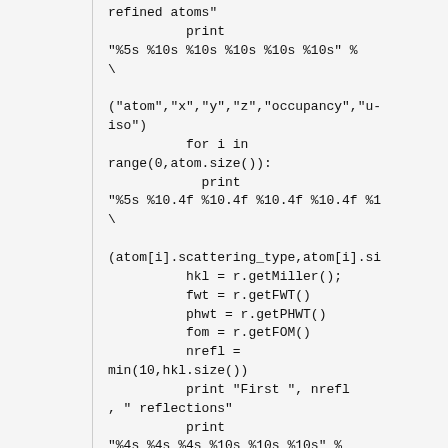Code snippet showing Python crystallography code with print statements for refined atoms, atom coordinates, and reflection data including getMiller, getFWT, getPHWT, getFOM calls and formatted print statements.